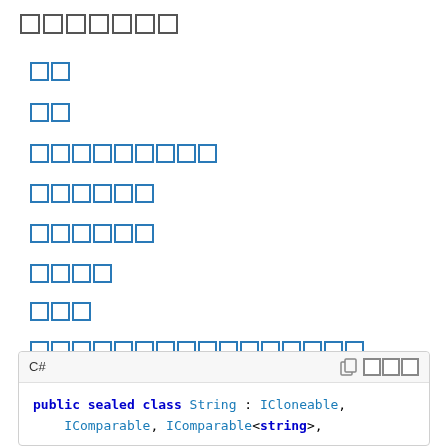□□□□□□□
□□
□□
□□□□□□□□□
□□□□□□
□□□□□□
□□□□
□□□
□□□□□□□□□□□□□□□□
□□□□□□□
□□□□
□□□□ □□□
□□□□□□□□□□
public sealed class String : ICloneable,
IComparable, IComparable<string>,